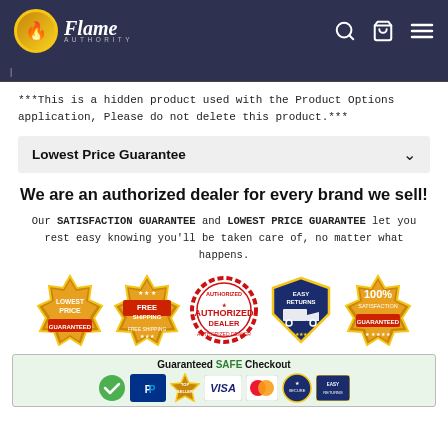Flame Authority
***This is a hidden product used with the Product Options application, Please do not delete this product.***
Lowest Price Guarantee
We are an authorized dealer for every brand we sell!
Our SATISFACTION GUARANTEE and LOWEST PRICE GUARANTEE let you rest easy knowing you'll be taken care of, no matter what happens.
[Figure (infographic): Five trust badges: Lowest Price Guaranteed, Free Shipping, Authorized Dealer, Easy Returns, 100% Satisfaction Guaranteed]
[Figure (infographic): Guaranteed SAFE Checkout bar with payment icons including PayPal, Visa, MasterCard, and others]